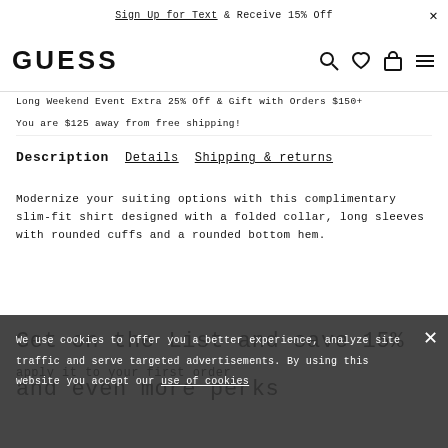Sign Up for Text & Receive 15% Off
[Figure (logo): GUESS brand logo in bold sans-serif, followed by navigation icons: search, heart/wishlist, shopping bag, hamburger menu]
Long Weekend Event Extra 25% Off & Gift with Orders $150+
You are $125 away from free shipping!
Description   Details   Shipping & returns
Modernize your suiting options with this complimentary slim-fit shirt designed with a folded collar, long sleeves with rounded cuffs and a rounded bottom hem.
Get on the List and save 15%
apply it to your first order
and even more perks
We use cookies to offer you a better experience, analyze site traffic and serve targeted advertisements. By using this website you accept our use of cookies